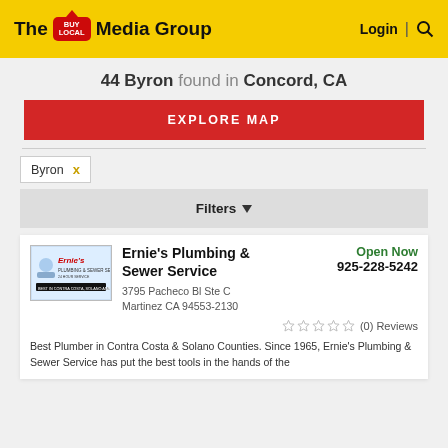The BuyLocal Media Group   Login | 🔍
44 Byron found in Concord, CA
EXPLORE MAP
Byron  x
Filters ▾
Ernie's Plumbing & Sewer Service  Open Now  925-228-5242  3795 Pacheco Bl Ste C Martinez CA 94553-2130  (0) Reviews
Best Plumber in Contra Costa & Solano Counties. Since 1965, Ernie's Plumbing & Sewer Service has put the best tools in the hands of the